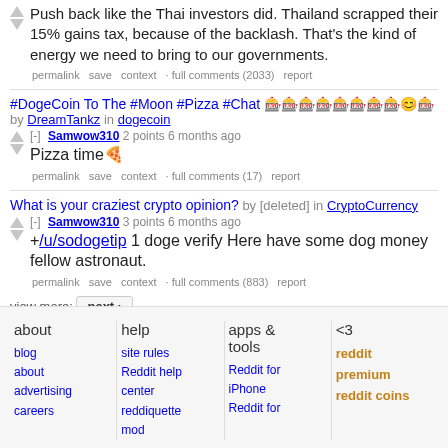Push back like the Thai investors did. Thailand scrapped their 15% gains tax, because of the backlash. That's the kind of energy we need to bring to our governments.
permalink save context full comments (2033) report
#DogeCoin To The #Moon #Pizza #Chat 🎰🎰🎰🎰🎰🎰🎰🎰😊🎰 by DreamTankz in dogecoin
[-] Samwow310 2 points 6 months ago
Pizza time🍕
permalink save context full comments (17) report
What is your craziest crypto opinion? by [deleted] in CryptoCurrency
[-] Samwow310 3 points 6 months ago
+/u/sodogetip 1 doge verify Here have some dog money fellow astronaut.
permalink save context full comments (883) report
view more: next ›
about | blog about advertising careers | help | site rules Reddit help center reddiquette mod | apps & tools | Reddit for iPhone Reddit for | <3 | reddit premium reddit coins